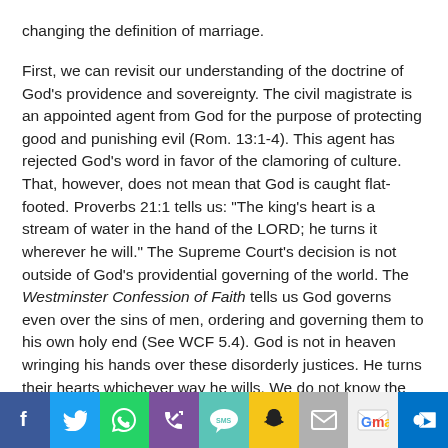changing the definition of marriage.
First, we can revisit our understanding of the doctrine of God’s providence and sovereignty. The civil magistrate is an appointed agent from God for the purpose of protecting good and punishing evil (Rom. 13:1-4). This agent has rejected God’s word in favor of the clamoring of culture. That, however, does not mean that God is caught flat-footed. Proverbs 21:1 tells us: “The king’s heart is a stream of water in the hand of the LORD; he turns it wherever he will.” The Supreme Court’s decision is not outside of God’s providential governing of the world. The Westminster Confession of Faith tells us God governs even over the sins of men, ordering and governing them to his own holy end (See WCF 5.4). God is not in heaven wringing his hands over these disorderly justices. He turns their hearts whichever way he wills. We do not know the final destination of this chapter of history, but we know God is in control of it.
[Figure (infographic): Social sharing bar with icons for Facebook, Twitter, WhatsApp, Phone, SMS, Snapchat, Email, Gmail, and Outlook]